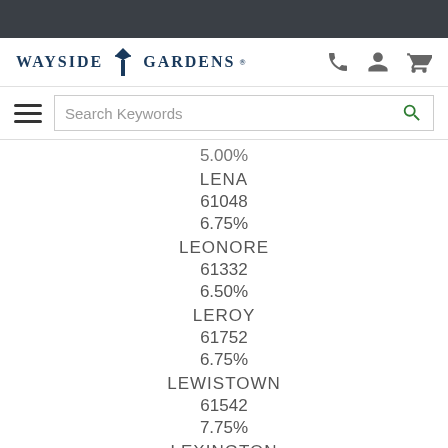[Figure (logo): Wayside Gardens logo with windmill icon]
5.00%
LENA
61048
6.75%
LEONORE
61332
6.50%
LEROY
61752
6.75%
LEWISTOWN
61542
7.75%
LEXINGTON
61753